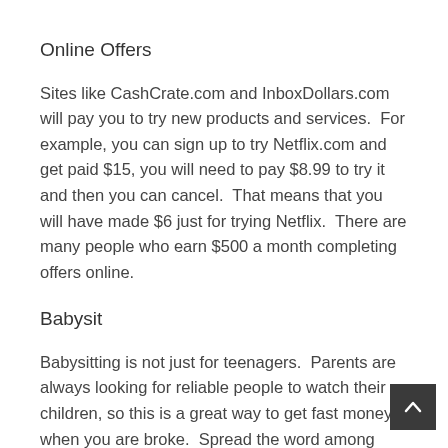Online Offers
Sites like CashCrate.com and InboxDollars.com will pay you to try new products and services.  For example, you can sign up to try Netflix.com and get paid $15, you will need to pay $8.99 to try it and then you can cancel.  That means that you will have made $6 just for trying Netflix.  There are many people who earn $500 a month completing offers online.
Babysit
Babysitting is not just for teenagers.  Parents are always looking for reliable people to watch their children, so this is a great way to get fast money when you are broke.  Spread the word among family and friends that you are wanting to start babysitting.  Before you know it you will have several families to sit for and will have a steady source of money.